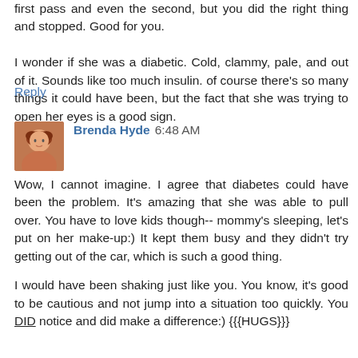first pass and even the second, but you did the right thing and stopped. Good for you.

I wonder if she was a diabetic. Cold, clammy, pale, and out of it. Sounds like too much insulin. of course there's so many things it could have been, but the fact that she was trying to open her eyes is a good sign.
Reply
Brenda Hyde 6:48 AM
Wow, I cannot imagine. I agree that diabetes could have been the problem. It's amazing that she was able to pull over. You have to love kids though-- mommy's sleeping, let's put on her make-up:) It kept them busy and they didn't try getting out of the car, which is such a good thing.

I would have been shaking just like you. You know, it's good to be cautious and not jump into a situation too quickly. You DID notice and did make a difference:) {{{HUGS}}}